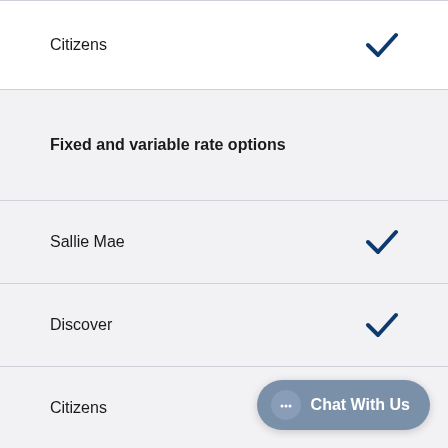| Lender | Fixed and variable rate options |
| --- | --- |
| Citizens | ✓ |
| Fixed and variable rate options |  |
| Sallie Mae | ✓ |
| Discover | ✓ |
| Citizens | ✓ |
Chat With Us